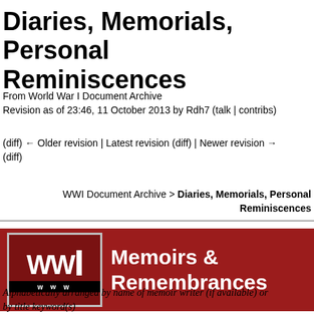Diaries, Memorials, Personal Reminiscences
From World War I Document Archive
Revision as of 23:46, 11 October 2013 by Rdh7 (talk | contribs)
(diff) ← Older revision | Latest revision (diff) | Newer revision → (diff)
WWI Document Archive > Diaries, Memorials, Personal Reminiscences
[Figure (logo): WWI Document Archive banner with WWI logo on dark red background and text 'Memoirs & Remembrances']
Alphabetically arranged by name of memoir writer (if available) or by title keyword(s)